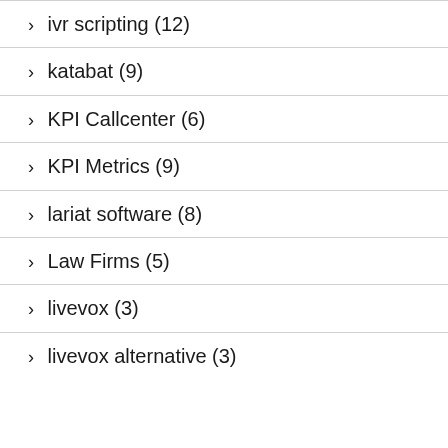> ivr scripting (12)
> katabat (9)
> KPI Callcenter (6)
> KPI Metrics (9)
> lariat software (8)
> Law Firms (5)
> livevox (3)
> livevox alternative (3)